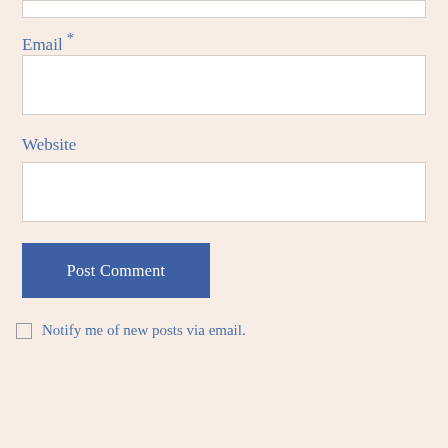Email *
Website
Post Comment
Notify me of new posts via email.